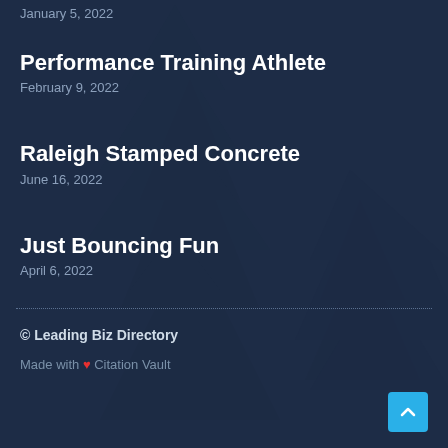January 5, 2022
Performance Training Athlete
February 9, 2022
Raleigh Stamped Concrete
June 16, 2022
Just Bouncing Fun
April 6, 2022
© Leading Biz Directory
Made with ❤ Citation Vault